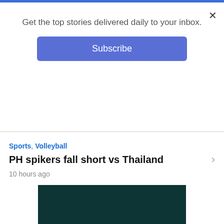Get the top stories delivered daily to your inbox.
Subscribe
Sports, Volleyball
PH spikers fall short vs Thailand
10 hours ago
[Figure (illustration): Dark teal advertisement image with text 'Is programmatic buying LIMITING']